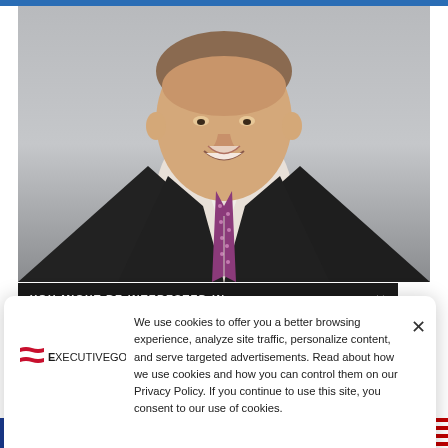[Figure (photo): Professional headshot of a man in a dark suit and purple/pink polka-dot tie, smiling, against a grey background]
YOU MIGHT BE INTERESTED IN  ×
[Figure (logo): ExecutiveGov logo with American flag wave icon and text 'ExecutiveGov']
We use cookies to offer you a better browsing experience, analyze site traffic, personalize content, and serve targeted advertisements. Read about how we use cookies and how you can control them on our Privacy Policy. If you continue to use this site, you consent to our use of cookies.
[Figure (photo): Partial view of another photo at the bottom showing a US flag and a person]